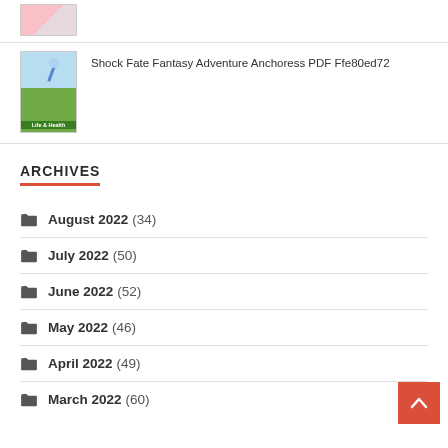[Figure (photo): Thumbnail image with pink/light tones at top of page (partially visible)]
Shock Fate Fantasy Adventure Anchoress PDF Ffe80ed72
[Figure (photo): Thumbnail image with blue sky and green field with 'Life & Health' label]
ARCHIVES
August 2022 (34)
July 2022 (50)
June 2022 (52)
May 2022 (46)
April 2022 (49)
March 2022 (60)